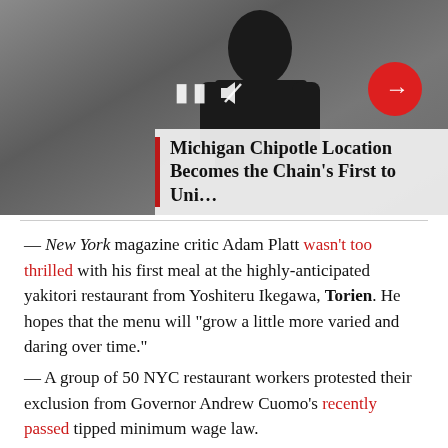[Figure (screenshot): Video thumbnail showing kitchen worker in black shirt, with pause and mute icons, red next-arrow button, and caption overlay reading 'Michigan Chipotle Location Becomes the Chain's First to Uni...']
— New York magazine critic Adam Platt wasn't too thrilled with his first meal at the highly-anticipated yakitori restaurant from Yoshiteru Ikegawa, Torien. He hopes that the menu will “grow a little more varied and daring over time.”
— A group of 50 NYC restaurant workers protested their exclusion from Governor Andrew Cuomo’s recently passed tipped minimum wage law.